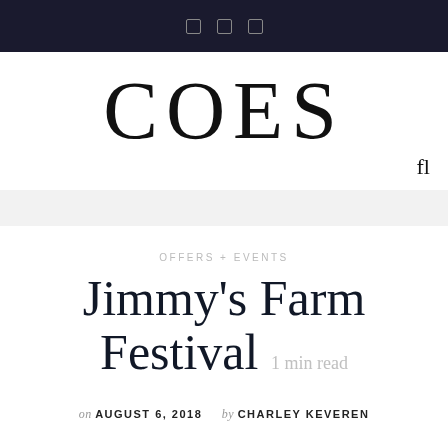COES
[Figure (logo): COES website logo in large serif font]
OFFERS + EVENTS
Jimmy's Farm Festival  1 min read
on AUGUST 6, 2018   by CHARLEY KEVEREN